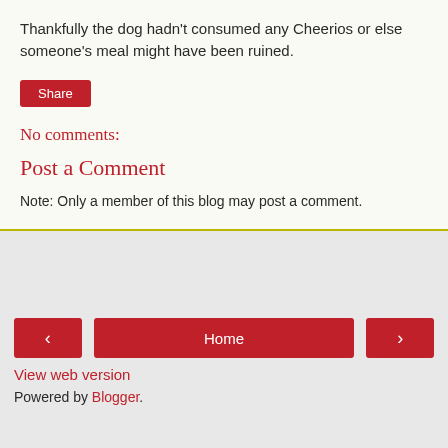Thankfully the dog hadn't consumed any Cheerios or else someone's meal might have been ruined.
[Figure (other): Red 'Share' button]
No comments:
Post a Comment
Note: Only a member of this blog may post a comment.
< Home > View web version Powered by Blogger.